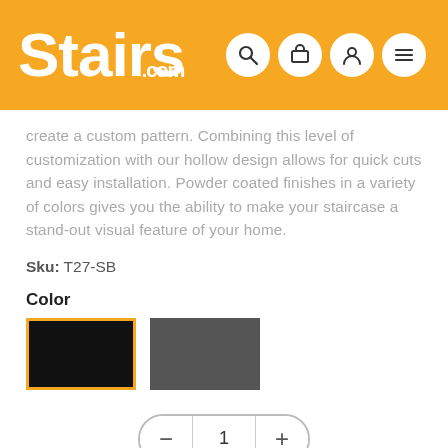Stairs.com
create a custom pattern. Combining this level of customization with our hollow design allows for quick cuts and easy installation. Powder coated finishes in a variety of colors gives you the ability to make your staircase a stand-out visual feature of your home.
Sku: T27-SB
Color
[Figure (other): Two color swatches: black (selected, with orange border) and dark gray]
1
$6.90